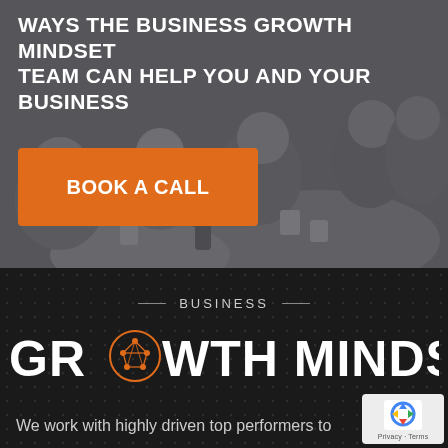[Figure (photo): Grayscale photo of people seated at round tables at a business event or conference, with dark overlay tint.]
WAYS THE BUSINESS GROWTH MINDSET TEAM CAN HELP YOU AND YOUR BUSINESS
BOOK A CALL
[Figure (logo): Business Growth Mindset logo on dark background with dotted texture. Shows '— BUSINESS —' above large text 'GROWTH MINDSET' with a stylized brain/network icon replacing the O in GROWTH.]
We work with highly driven top performers to